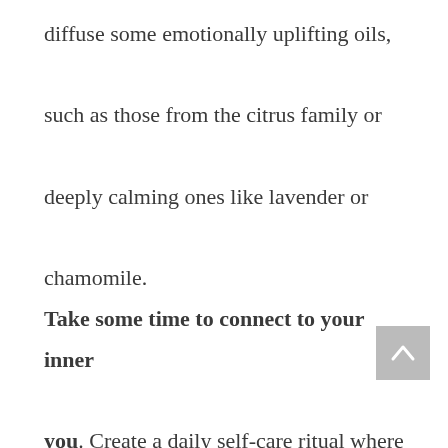diffuse some emotionally uplifting oils, such as those from the citrus family or deeply calming ones like lavender or chamomile. Take some time to connect to your inner you. Create a daily self-care ritual where you sprinkle just a little extra love on you. Do not forget to love the parts you don't find very loving because they need it the most. Let yourself be exactly who you are. This is a time of inner reflection, so allow yourself to do just that.